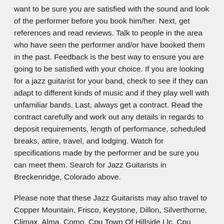want to be sure you are satisfied with the sound and look of the performer before you book him/her. Next, get references and read reviews. Talk to people in the area who have seen the performer and/or have booked them in the past. Feedback is the best way to ensure you are going to be satisfied with your choice. If you are looking for a jazz guitarist for your band, check to see if they can adapt to different kinds of music and if they play well with unfamiliar bands. Last, always get a contract. Read the contract carefully and work out any details in regards to deposit requirements, length of performance, scheduled breaks, attire, travel, and lodging. Watch for specifications made by the performer and be sure you can meet them. Search for Jazz Guitarists in Breckenridge, Colorado above.
Please note that these Jazz Guitarists may also travel to Copper Mountain, Frisco, Keystone, Dillon, Silverthorne, Climax, Alma, Como, Cpu Town Of Hillside Llc, Cpu Louis Guzzo Ent, Jefferson, Red Cliff, Fairplay, Leadville, Vail, Silver Plume, Georgetown, and Empire.